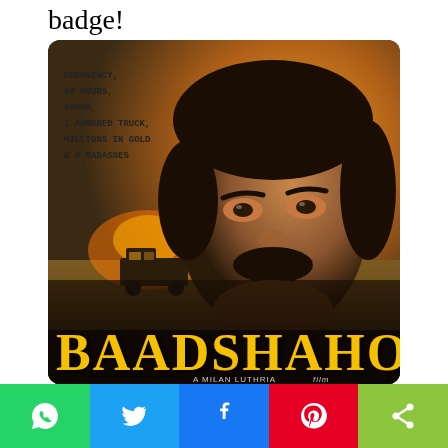badge!
[Figure (photo): Baadshaho movie poster featuring a man with a mustache in close-up, an armored truck in desert background with fire, golden title text 'BAADSHAHO' at bottom with tagline 'EMERGENCY, 96 HOURS, 600KM, 1 ARMORED TRUCK, MILLIONS IN GOLD & 6 BADASSES' and credit 'A MILAN LUTHRIA FILM']
[Figure (infographic): Social media share bar with WhatsApp (green), Twitter (blue), Facebook (blue), Pinterest (red), and Share (green) buttons]